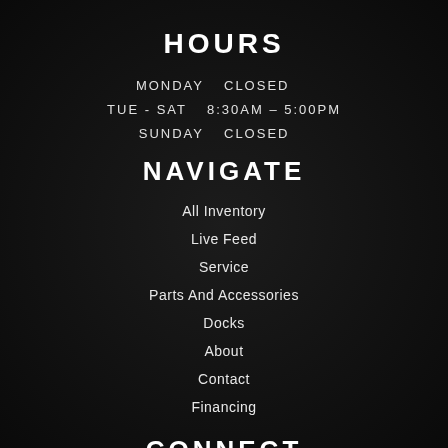HOURS
| MONDAY | CLOSED |
| TUE - SAT | 8:30AM – 5:00PM |
| SUNDAY | CLOSED |
NAVIGATE
All Inventory
Live Feed
Service
Parts And Accessories
Docks
About
Contact
Financing
CONNECT
[Figure (logo): Facebook logo icon in white]